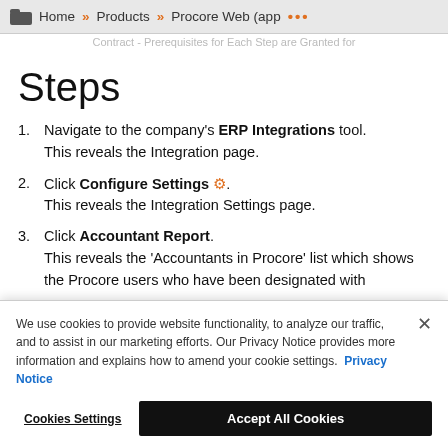Home » Products » Procore Web (app ...
Steps
1. Navigate to the company's ERP Integrations tool. This reveals the Integration page.
2. Click Configure Settings ⚙. This reveals the Integration Settings page.
3. Click Accountant Report. This reveals the 'Accountants in Procore' list which shows the Procore users who have been designated with
We use cookies to provide website functionality, to analyze our traffic, and to assist in our marketing efforts. Our Privacy Notice provides more information and explains how to amend your cookie settings. Privacy Notice
Cookies Settings   Accept All Cookies